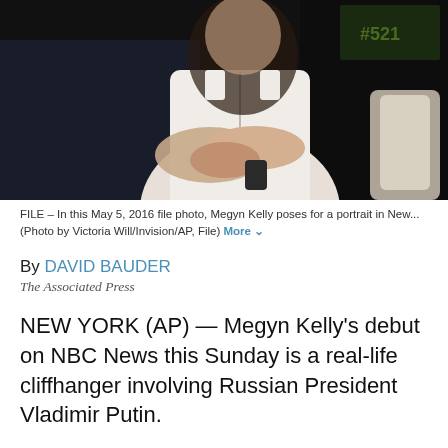[Figure (photo): A woman in a white sleeveless top with arms crossed, seated near a white chair, dark background with studio lighting. Megyn Kelly portrait.]
FILE – In this May 5, 2016 file photo, Megyn Kelly poses for a portrait in New... (Photo by Victoria Will/Invision/AP, File) More
By DAVID BAUDER
The Associated Press
NEW YORK (AP) — Megyn Kelly's debut on NBC News this Sunday is a real-life cliffhanger involving Russian President Vladimir Putin.